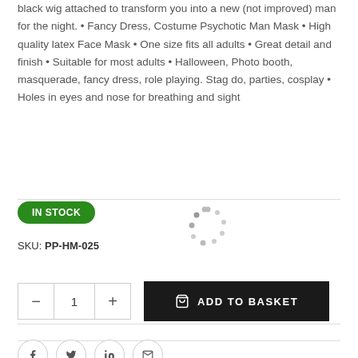black wig attached to transform you into a new (not improved) man for the night. • Fancy Dress, Costume Psychotic Man Mask • High quality latex Face Mask • One size fits all adults • Great detail and finish • Suitable for most adults • Halloween, Photo booth, masquerade, fancy dress, role playing. Stag do, parties, cosplay • Holes in eyes and nose for breathing and sight
IN STOCK
[Figure (other): Loading spinner animation dots]
SKU: PP-HM-025
[Figure (other): Quantity selector with minus, 1, plus buttons and Add to Basket button]
[Figure (other): Social share icons: Facebook, Twitter, LinkedIn, Email]